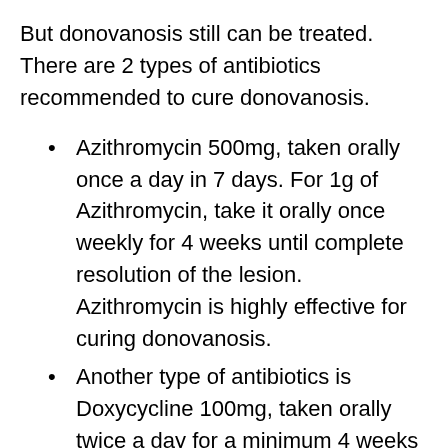But donovanosis still can be treated. There are 2 types of antibiotics recommended to cure donovanosis.
Azithromycin 500mg, taken orally once a day in 7 days. For 1g of Azithromycin, take it orally once weekly for 4 weeks until complete resolution of the lesion. Azithromycin is highly effective for curing donovanosis.
Another type of antibiotics is Doxycycline 100mg, taken orally twice a day for a minimum 4 weeks until complete resolution of the lesion.